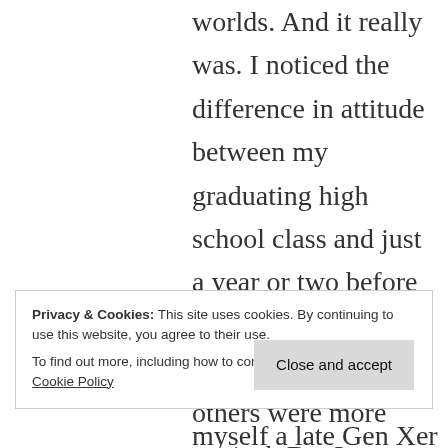worlds. And it really was. I noticed the difference in attitude between my graduating high school class and just a year or two before me. We were the “idealists” and the others were more cynical. But I
Privacy & Cookies: This site uses cookies. By continuing to use this website, you agree to their use.
To find out more, including how to control cookies, see here: Cookie Policy
Close and accept
myself a late Gen Xer